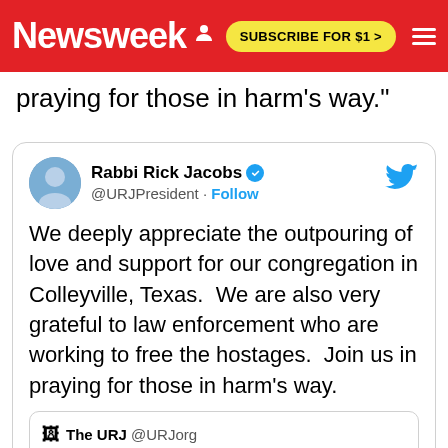Newsweek | SUBSCRIBE FOR $1 >
praying for those in harm's way."
[Figure (screenshot): Embedded tweet from Rabbi Rick Jacobs @URJPresident with Follow link and Twitter bird icon. Tweet text: We deeply appreciate the outpouring of love and support for our congregation in Colleyville, Texas. We are also very grateful to law enforcement who are working to free the hostages. Join us in praying for those in harm's way. Contains a retweet from The URJ @URJorg: We are monitoring the situation at Congregation Beth Israel in Colleyville, Texas very closely and are in touch with community leaders there. We pray for a rapid and peaceful resolution.]